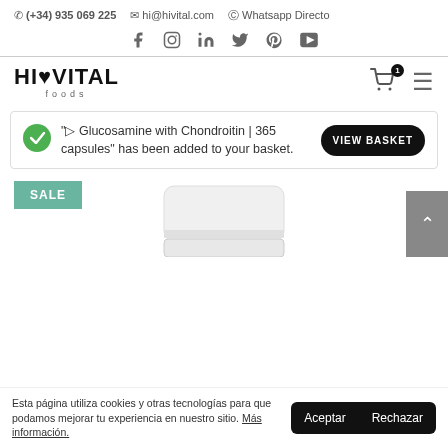(+34) 935 069 225  hi@hivital.com  Whatsapp Directo
[Figure (logo): Social media icons: Facebook, Instagram, LinkedIn, Twitter, Pinterest, YouTube]
[Figure (logo): HIVITAL foods logo with cart icon (badge: 1) and hamburger menu]
"▷ Glucosamine with Chondroitin | 365 capsules" has been added to your basket.
[Figure (illustration): Product image of a white container/supplement package]
Esta página utiliza cookies y otras tecnologías para que podamos mejorar tu experiencia en nuestro sitio. Más información.